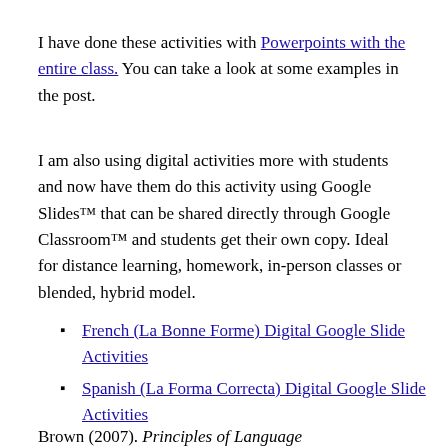I have done these activities with Powerpoints with the entire class. You can take a look at some examples in the post.
I am also using digital activities more with students and now have them do this activity using Google Slides™ that can be shared directly through Google Classroom™ and students get their own copy. Ideal for distance learning, homework, in-person classes or blended, hybrid model.
French (La Bonne Forme) Digital Google Slide Activities
Spanish (La Forma Correcta) Digital Google Slide Activities
Brown (2007). Principles of Language